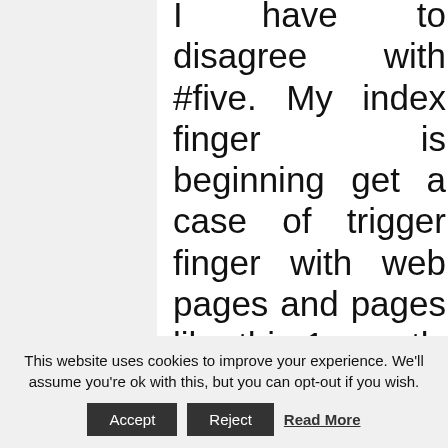I have to disagree with #five. My index finger is beginning get a case of trigger finger with web pages and pages like this 1 exactly where I have to scroll for miles just to see a complete article. Founded in 2006, Buffalo is a modest web design & improvement agency based in Brighton, UK. Over the final handful of years they've created a reputation for
This website uses cookies to improve your experience. We'll assume you're ok with this, but you can opt-out if you wish.
Accept   Reject   Read More